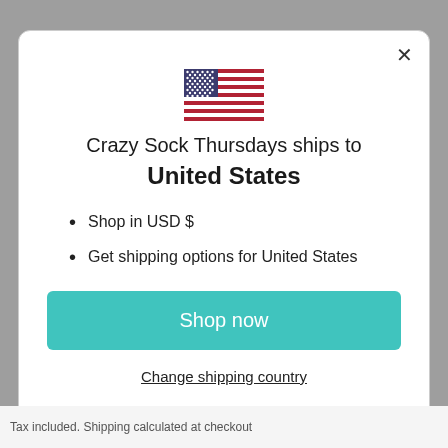[Figure (illustration): US flag icon displayed at top center of modal dialog]
Crazy Sock Thursdays ships to United States
Shop in USD $
Get shipping options for United States
Shop now
Change shipping country
Tax included. Shipping calculated at checkout